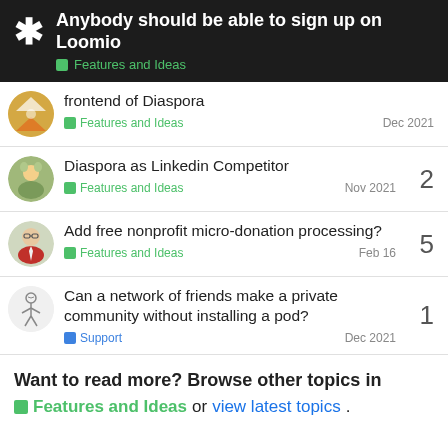Anybody should be able to sign up on Loomio — Features and Ideas
frontend of Diaspora
Features and Ideas
Dec 2021
Diaspora as Linkedin Competitor
Features and Ideas
Nov 2021
2
Add free nonprofit micro-donation processing?
Features and Ideas
Feb 16
5
Can a network of friends make a private community without installing a pod?
Support
Dec 2021
1
Want to read more? Browse other topics in Features and Ideas or view latest topics.